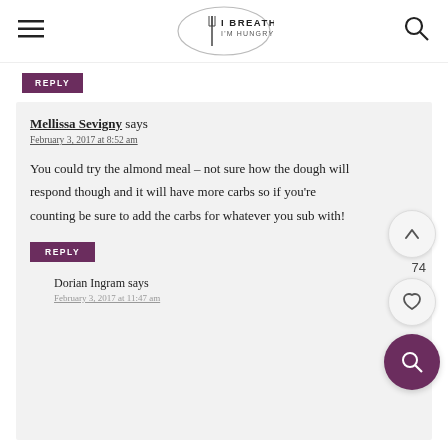I BREATHE I'M HUNGRY
REPLY
Mellissa Sevigny says
February 3, 2017 at 8:52 am

You could try the almond meal – not sure how the dough will respond though and it will have more carbs so if you're counting be sure to add the carbs for whatever you sub with!
REPLY
Dorian Ingram says
February 3, 2017 at 11:47 am